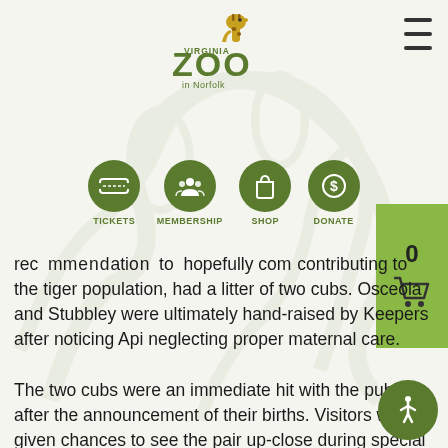[Figure (logo): Virginia Zoo in Norfolk logo with giraffe illustration and green ZOO text]
[Figure (infographic): Navigation icons: Tickets, Membership, Shop, Donate — dark green circles with white icons]
[Figure (infographic): Shopping cart button showing 0 items on green background]
rec mmendation to hopefully co m- contributing to the tiger population, had a litter of two cubs. Osceola and Stubbley were ultimately hand-raised by Keepers after noticing Api neglecting proper maternal care.
The two cubs were an immediate hit with the public after the announcement of their births. Visitors were given chances to see the pair up-close during special window viewing